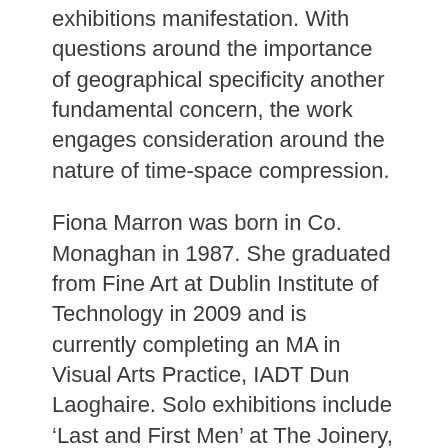exhibitions manifestation. With questions around the importance of geographical specificity another fundamental concern, the work engages consideration around the nature of time-space compression.
Fiona Marron was born in Co. Monaghan in 1987. She graduated from Fine Art at Dublin Institute of Technology in 2009 and is currently completing an MA in Visual Arts Practice, IADT Dun Laoghaire. Solo exhibitions include ‘Last and First Men’ at The Joinery, Dublin (2011),  ‘As Topic and Tool’ at The Joinery (2010) and ‘For Who Knows What’ at FOUR, Dublin (2009). Group exhibitions include ‘At the level of entitiy’, The LAB, Dublin (2013) ‘Construct #1’ at Monster Truck Gallery, ‘Portrait of Space’ at Clonlea Studios, Dublin (2011), ‘Hidden Memories, Lost Traces’ at Sinopale: Third Sinop Biennial,